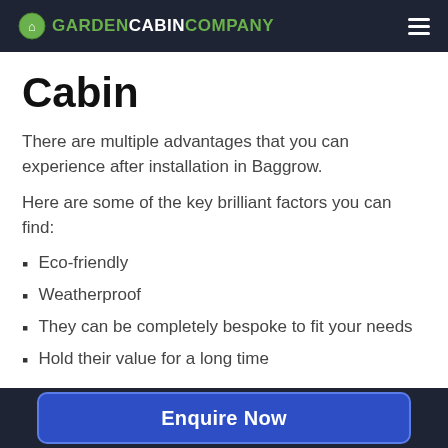GARDEN CABIN COMPANY
Cabin
There are multiple advantages that you can experience after installation in Baggrow.
Here are some of the key brilliant factors you can find:
Eco-friendly
Weatherproof
They can be completely bespoke to fit your needs
Hold their value for a long time
Enquire Now